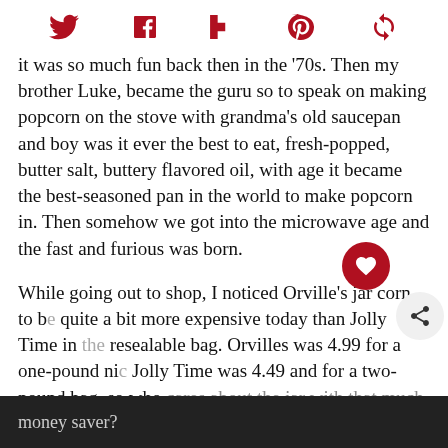[Figure (infographic): Social media sharing icons row: Twitter bird, Facebook f, Flipboard F, Pinterest P, and a refresh/follow icon, all in dark red/crimson color]
it was so much fun back then in the '70s. Then my brother Luke, became the guru so to speak on making popcorn on the stove with grandma's old saucepan and boy was it ever the best to eat, fresh-popped, butter salt, buttery flavored oil, with age it became the best-seasoned pan in the world to make popcorn in. Then somehow we got into the microwave age and the fast and furious was born.
While going out to shop, I noticed Orville's jar corn to be quite a bit more expensive today than Jolly Time in the resealable bag. Orvilles was 4.99 for a one-pound nic Jolly Time was 4.49 and for a two-pound bag, so who cares about the jar with that much more popcorn and a real money saver?